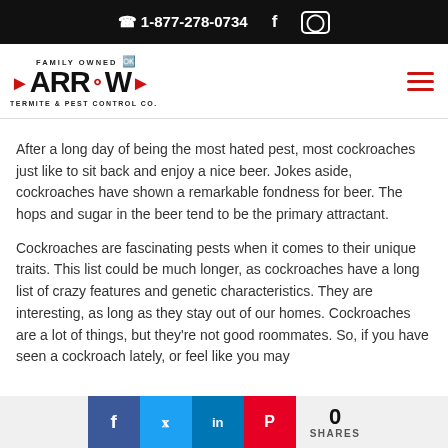1-877-278-0734
[Figure (logo): Arrow Termite & Pest Control Co. logo with red arrows and bug icon]
After a long day of being the most hated pest, most cockroaches just like to sit back and enjoy a nice beer. Jokes aside, cockroaches have shown a remarkable fondness for beer. The hops and sugar in the beer tend to be the primary attractant.
Cockroaches are fascinating pests when it comes to their unique traits. This list could be much longer, as cockroaches have a long list of crazy features and genetic characteristics. They are interesting, as long as they stay out of our homes. Cockroaches are a lot of things, but they're not good roommates. So, if you have seen a cockroach lately, or feel like you may
0 SHARES